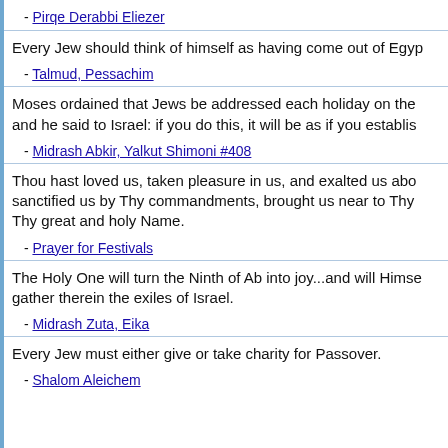- Pirqe Derabbi Eliezer
Every Jew should think of himself as having come out of Egypt
- Talmud, Pessachim
Moses ordained that Jews be addressed each holiday on the and he said to Israel: if you do this, it will be as if you establis
- Midrash Abkir, Yalkut Shimoni #408
Thou hast loved us, taken pleasure in us, and exalted us abo sanctified us by Thy commandments, brought us near to Thy Thy great and holy Name.
- Prayer for Festivals
The Holy One will turn the Ninth of Ab into joy...and will Himse gather therein the exiles of Israel.
- Midrash Zuta, Eika
Every Jew must either give or take charity for Passover.
- Shalom Aleichem